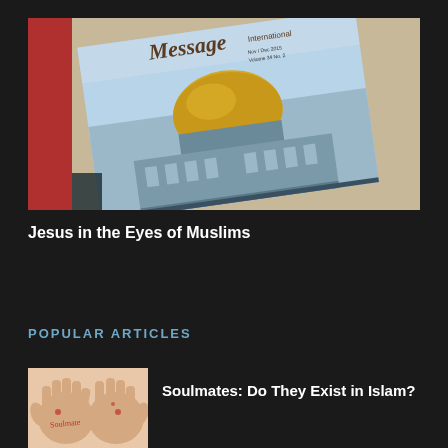[Figure (photo): A tilted magazine cover titled 'Message International' showing the Dome of the Rock in Jerusalem with a golden dome and blue sky, placed on a light beige surface beside a red book spine.]
Jesus in the Eyes of Muslims
POPULAR ARTICLES
[Figure (photo): Two hands with palms facing up, with the word 'Soulmate' written in red on one palm, and red dots/hearts on both hands, against a light background.]
Soulmates: Do They Exist in Islam?